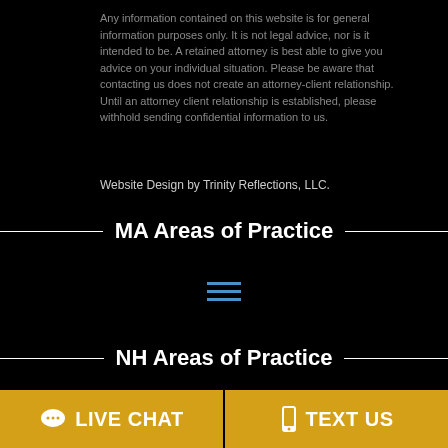Any information contained on this website is for general information purposes only. It is not legal advice, nor is it intended to be. A retained attorney is best able to give you advice on your individual situation. Please be aware that contacting us does not create an attorney-client relationship. Until an attorney client relationship is established, please withhold sending confidential information to us.
Website Design by Trinity Reflections, LLC.
MA Areas of Practice
[Figure (other): Hamburger menu icon with three horizontal blue lines]
NH Areas of Practice
[Figure (other): Hamburger menu icon with three horizontal blue lines]
LIVE CHAT
TEXT US